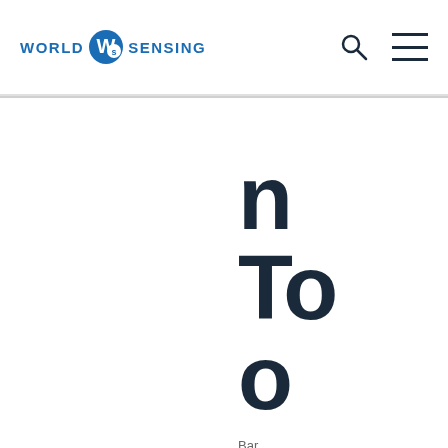WORLD SENSING
n To o
Bar
Co Di De te as sc